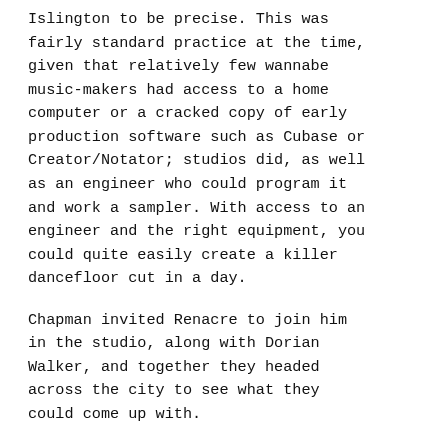Islington to be precise. This was fairly standard practice at the time, given that relatively few wannabe music-makers had access to a home computer or a cracked copy of early production software such as Cubase or Creator/Notator; studios did, as well as an engineer who could program it and work a sampler. With access to an engineer and the right equipment, you could quite easily create a killer dancefloor cut in a day.
Chapman invited Renacre to join him in the studio, along with Dorian Walker, and together they headed across the city to see what they could come up with.